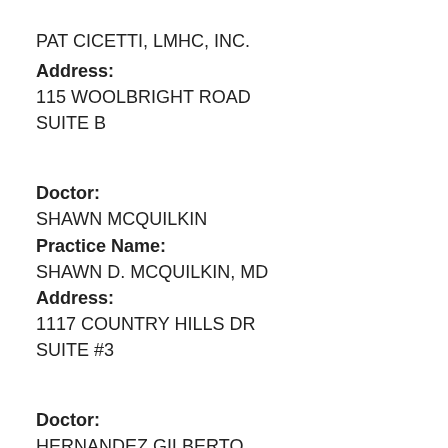PAT CICETTI, LMHC, INC.
Address:
115 WOOLBRIGHT ROAD
SUITE B
Doctor:
SHAWN MCQUILKIN
Practice Name:
SHAWN D. MCQUILKIN, MD
Address:
1117 COUNTRY HILLS DR
SUITE #3
Doctor:
HERNANDEZ GILBERTO